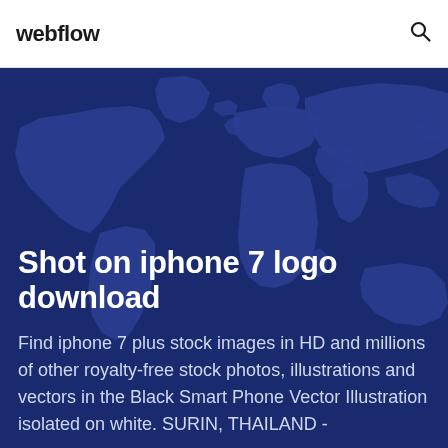webflow
[Figure (illustration): Dark blue background with world map silhouette illustration]
Shot on iphone 7 logo download
Find iphone 7 plus stock images in HD and millions of other royalty-free stock photos, illustrations and vectors in the Black Smart Phone Vector Illustration isolated on white. SURIN, THAILAND -